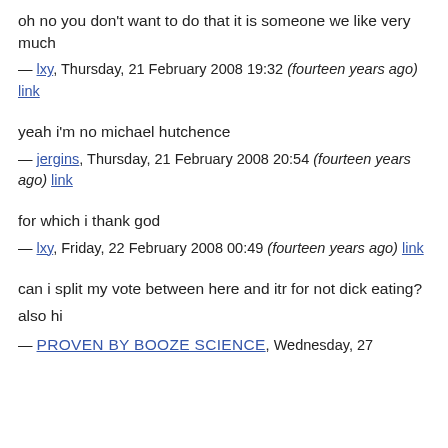oh no you don't want to do that it is someone we like very much
— lxy, Thursday, 21 February 2008 19:32 (fourteen years ago) link
yeah i'm no michael hutchence
— jergins, Thursday, 21 February 2008 20:54 (fourteen years ago) link
for which i thank god
— lxy, Friday, 22 February 2008 00:49 (fourteen years ago) link
can i split my vote between here and itr for not dick eating?
also hi
— PROVEN BY BOOZE SCIENCE, Wednesday, 27